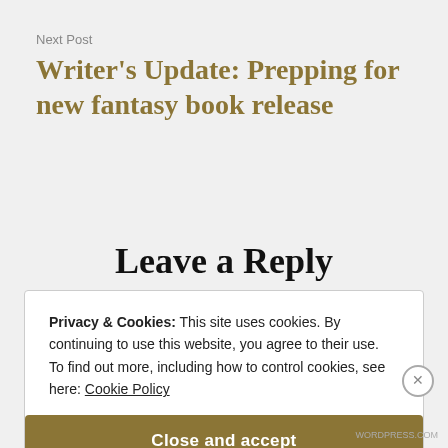Next Post
Writer's Update: Prepping for new fantasy book release
Leave a Reply
Privacy & Cookies: This site uses cookies. By continuing to use this website, you agree to their use.
To find out more, including how to control cookies, see here: Cookie Policy
Close and accept